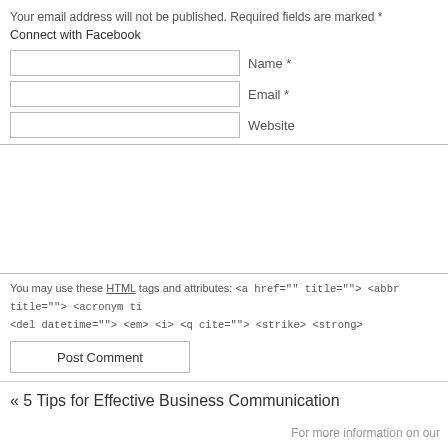Your email address will not be published. Required fields are marked *
Connect with Facebook
Name *
Email *
Website
You may use these HTML tags and attributes: <a href="" title=""> <abbr title=""> <acronym ti... <del datetime=""> <em> <i> <q cite=""> <strike> <strong>
Post Comment
« 5 Tips for Effective Business Communication
For more information on our